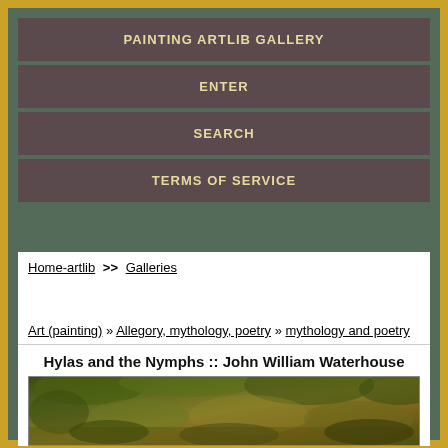PAINTING ARTLIB GALLERY
ENTER
SEARCH
TERMS OF SERVICE
Home-artlib >> Galleries
Art (painting) » Allegory, mythology, poetry » mythology and poetry
Hylas and the Nymphs :: John William Waterhouse
[Figure (photo): Painting of Hylas and the Nymphs by John William Waterhouse showing a lush green and golden forest/water scene]